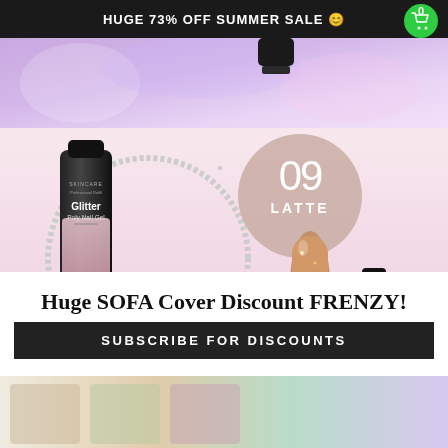HUGE 73% OFF SUMMER SALE 😊
[Figure (photo): Purple/lavender abstract background with holographic reflections and a dark bottle partially visible]
[Figure (photo): Glitter Poly Nail Gel product tube (black) with number 09 LATTE badge, glitter nail art swatch, silver glitter ring decoration, pink background, small black tube and number 10 badge in bottom right corner]
Huge SOFA Cover Discount FRENZY!
SUBSCRIBE FOR DISCOUNTS